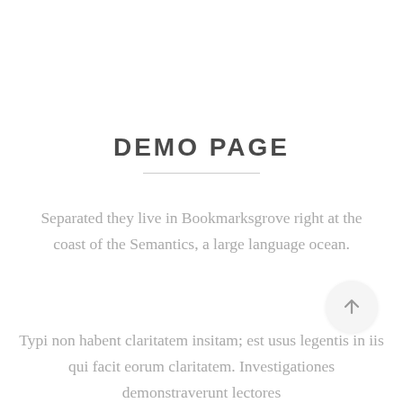DEMO PAGE
Separated they live in Bookmarksgrove right at the coast of the Semantics, a large language ocean.
Typi non habent claritatem insitam; est usus legentis in iis qui facit eorum claritatem. Investigationes demonstraverunt lectores